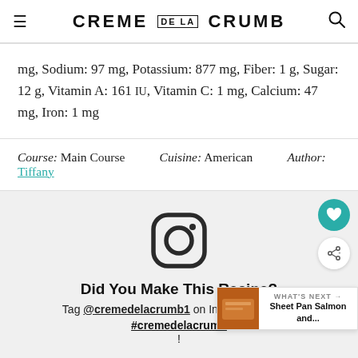CREME DE LA CRUMB
mg, Sodium: 97 mg, Potassium: 877 mg, Fiber: 1 g, Sugar: 12 g, Vitamin A: 161 IU, Vitamin C: 1 mg, Calcium: 47 mg, Iron: 1 mg
Course: Main Course   Cuisine: American   Author: Tiffany
[Figure (logo): Instagram logo icon (rounded square with camera outline and small circle, dark gray on light gray background)]
Did You Make This Recipe? Tag @cremedelacrumb1 on Instagram and hashtag it #cremedelacrumb!
Get 0% Interest For 72 months | Mattress Firm Potomac Run Plaza